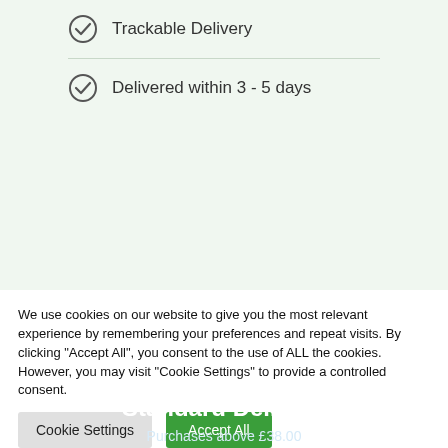Trackable Delivery
Delivered within 3 - 5 days
[Figure (infographic): Blue banner with green FREE ribbon corner, showing Standard Delivery offer: Purchases above £38.00]
We use cookies on our website to give you the most relevant experience by remembering your preferences and repeat visits. By clicking "Accept All", you consent to the use of ALL the cookies. However, you may visit "Cookie Settings" to provide a controlled consent.
Cookie Settings | Accept All